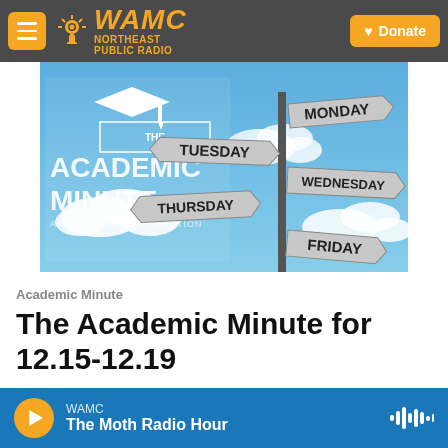WAMC Northeast Public Radio — Donate
[Figure (illustration): The Academic Minute logo with street signs showing days of the week: Monday, Tuesday, Wednesday, Thursday, Friday on a blue sky background]
Academic Minute
The Academic Minute for 12.15-12.19
WAMC — The Moth Radio Hour (player bar)